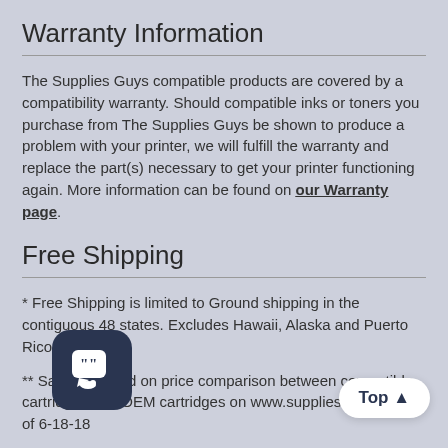Warranty Information
The Supplies Guys compatible products are covered by a compatibility warranty. Should compatible inks or toners you purchase from The Supplies Guys be shown to produce a problem with your printer, we will fulfill the warranty and replace the part(s) necessary to get your printer functioning again. More information can be found on our Warranty page.
Free Shipping
* Free Shipping is limited to Ground shipping in the contiguous 48 states. Excludes Hawaii, Alaska and Puerto Rico.
** Savings based on price comparison between compatible cartridges and OEM cartridges on www.suppliesguys.com as of 6-18-18
Contact
Call: 1-888-722-0390
Mon – Fri: 9 am to 9 pm EST
Sat: 10 am to 6:30 pm EST